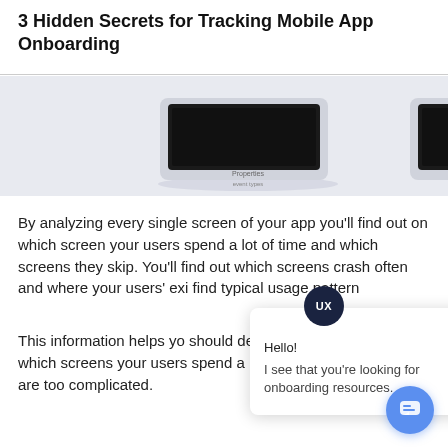3 Hidden Secrets for Tracking Mobile App Onboarding
[Figure (screenshot): Screenshot showing laptop/device mockups with a UI dashboard, partially visible with 'Properties' and other labels in a light blue-grey background area]
By analyzing every single screen of your app you'll find out on which screen your users spend a lot of time and which screens they skip. You'll find out which screens crash often and where your users' exi find typical usage pattern
This information helps yo should delete from your o notice on which screens your users spend a lot of time on and which are too complicated.
[Figure (screenshot): Chat widget overlay with UX badge, close button, greeting 'Hello!' and message 'I see that you're looking for onboarding resources.']